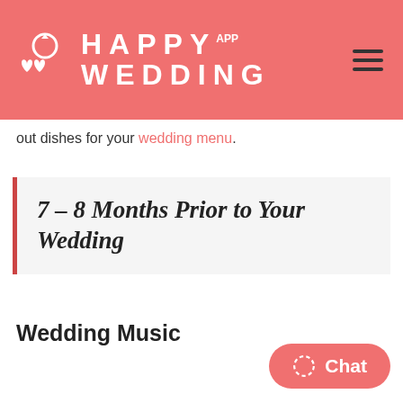HAPPY WEDDING APP
out dishes for your wedding menu.
7 – 8 Months Prior to Your Wedding
Wedding Music